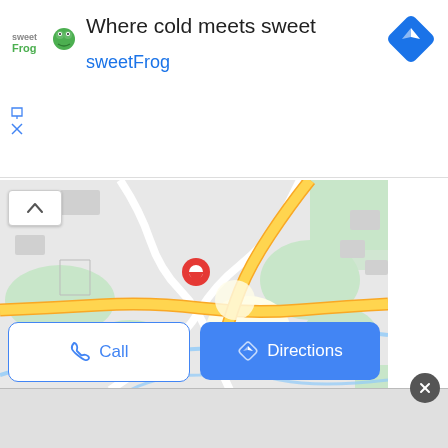[Figure (screenshot): SweetFrog advertisement banner with logo, tagline 'Where cold meets sweet', brand name 'sweetFrog', navigation icon, and ad controls (report/close buttons)]
[Figure (map): Google Maps screenshot showing a road intersection with a red location pin marker, yellow highway roads, green park areas, and blue waterway. Two action buttons visible: 'Call' and 'Directions'.]
[Figure (screenshot): Bottom grey bar with a dark close/X circular button in the top-right corner]